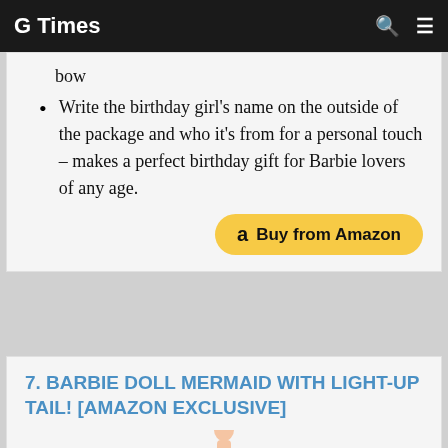G Times
bow
Write the birthday girl’s name on the outside of the package and who it’s from for a personal touch – makes a perfect birthday gift for Barbie lovers of any age.
7. BARBIE DOLL MERMAID WITH LIGHT-UP TAIL! [AMAZON EXCLUSIVE]
[Figure (photo): Barbie doll mermaid figure, partially visible at bottom of card]